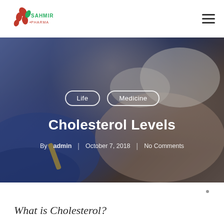[Figure (logo): Sahmir Pharma logo with red and green leaf/drop design]
[Figure (photo): Close-up photo of medical professional drawing blood from patient's arm, gloved hands visible]
Life  Medicine
Cholesterol Levels
By admin | October 7, 2018 | No Comments
What is Cholesterol?